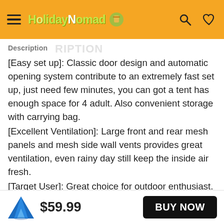HolidayNomad
Description
[Easy set up]: Classic door design and automatic opening system contribute to an extremely fast set up, just need few minutes, you can got a tent has enough space for 4 adult. Also convenient storage with carrying bag.
[Excellent Ventilation]: Large front and rear mesh panels and mesh side wall vents provides great ventilation, even rainy day still keep the inside air fresh.
[Target User]: Great choice for outdoor enthusiast. This tent adapt most situation. Camping, Hiking even
$59.99  BUY NOW